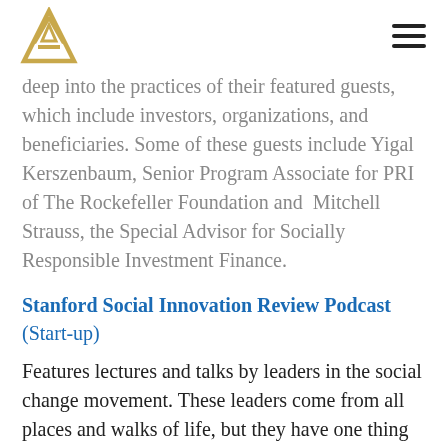[Logo] [Hamburger menu]
deep into the practices of their featured guests, which include investors, organizations, and beneficiaries. Some of these guests include Yigal Kerszenbaum, Senior Program Associate for PRI of The Rockefeller Foundation and  Mitchell Strauss, the Special Advisor for Socially Responsible Investment Finance.
Stanford Social Innovation Review Podcast (Start-up)
Features lectures and talks by leaders in the social change movement. These leaders come from all places and walks of life, but they have one thing in common: they are dedicated to using their businesses and crafts to make a social impact. By telling their